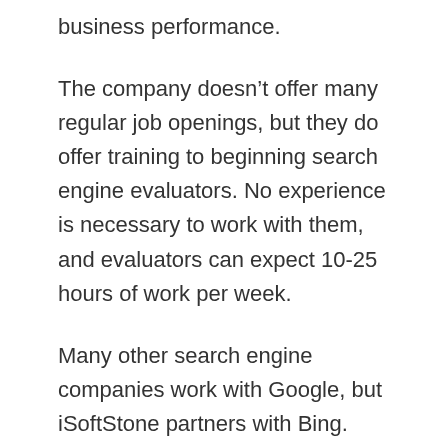business performance.
The company doesn’t offer many regular job openings, but they do offer training to beginning search engine evaluators. No experience is necessary to work with them, and evaluators can expect 10-25 hours of work per week.
Many other search engine companies work with Google, but iSoftStone partners with Bing.